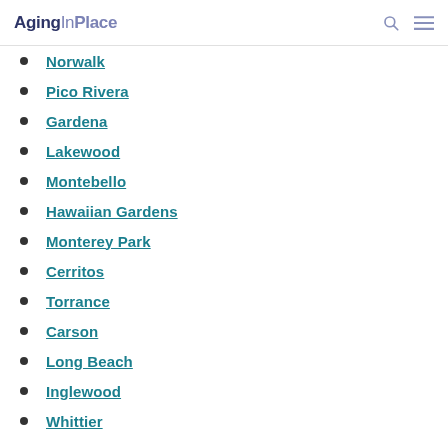AgingInPlace
Norwalk
Pico Rivera
Gardena
Lakewood
Montebello
Hawaiian Gardens
Monterey Park
Cerritos
Torrance
Carson
Long Beach
Inglewood
Whittier